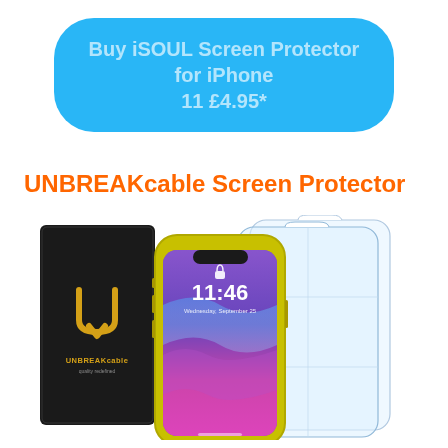Buy iSOUL Screen Protector for iPhone 11 £4.95*
UNBREAKcable Screen Protector
[Figure (photo): Product photo showing UNBREAKcable screen protector package: a black box with gold UNBREAKcable logo on the left, a yellow iPhone 11 in the center with a screen protector applied showing lock screen at 11:46 Wednesday September 25, and two transparent glass screen protectors laid out to the right.]